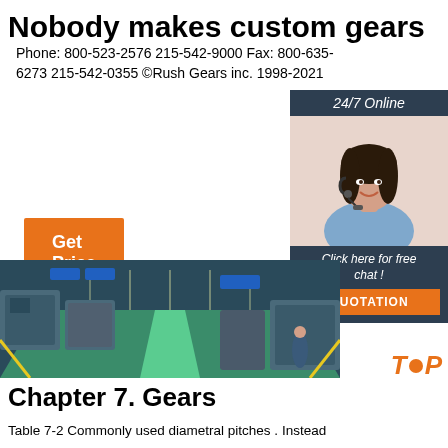Nobody makes custom gears
Phone: 800-523-2576 215-542-9000 Fax: 800-635-6273 215-542-0355 ©Rush Gears inc. 1998-2021
[Figure (photo): Orange 'Get Price' button]
[Figure (photo): Sidebar widget with '24/7 Online' header, customer service representative photo with headset, 'Click here for free chat!' text, and orange QUOTATION button on dark navy background]
[Figure (photo): Wide panoramic photo of a factory floor with CNC machines, green floor with yellow lines, bright lighting, workers in background]
TOP
Chapter 7. Gears
Table 7-2 Commonly used diametral pitches . Instead